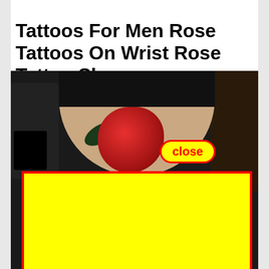Tattoos For Men Rose Tattoos On Wrist Rose Tattoo Sleeve
[Figure (photo): A close-up photo of a wrist tattoo featuring a red rose with dark leaves on a person's arm. A yellow rectangle with a red border overlays the lower portion of the image. A red-bordered 'close' button in yellow appears over the middle of the image.]